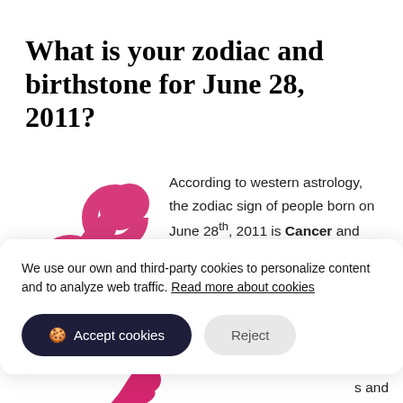What is your zodiac and birthstone for June 28, 2011?
[Figure (illustration): Cancer zodiac symbol in pink/magenta color - stylized crab symbol]
According to western astrology, the zodiac sign of people born on June 28th, 2011 is Cancer and grouped into Water element. Cancerians are
We use our own and third-party cookies to personalize content and to analyze web traffic. Read more about cookies
Accept cookies | Reject